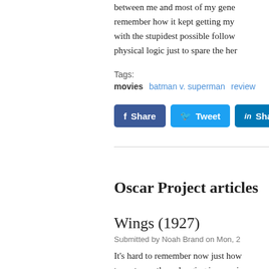between me and most of my generation. I remember how it kept getting my hopes up with the stupidest possible followthrough, physical logic just to spare the hero.
Tags:
movies   batman v. superman   review
[Figure (other): Social share buttons: Facebook Share, Twitter Tweet, LinkedIn Share]
Oscar Project articles
Wings (1927)
Submitted by Noah Brand on Mon, 2
It's hard to remember now just how town to another, charging impressi